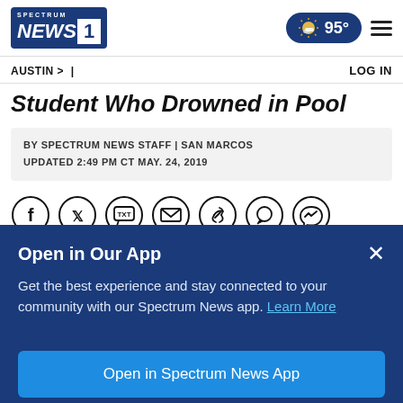SPECTRUM NEWS 1 | 95° | ☀️
AUSTIN > | LOG IN
Student Who Drowned in Pool
BY SPECTRUM NEWS STAFF | SAN MARCOS
UPDATED 2:49 PM CT MAY. 24, 2019
[Figure (infographic): Social sharing icons row: Facebook, Twitter, TXT, Email, Link, WhatsApp, Messenger]
Open in Our App
Get the best experience and stay connected to your community with our Spectrum News app. Learn More
Open in Spectrum News App
Continue in Browser